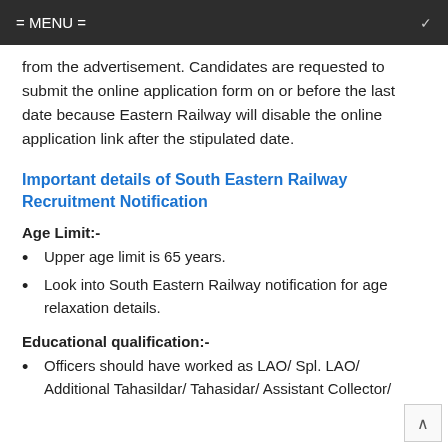= MENU =
from the advertisement. Candidates are requested to submit the online application form on or before the last date because Eastern Railway will disable the online application link after the stipulated date.
Important details of South Eastern Railway Recruitment Notification
Age Limit:-
Upper age limit is 65 years.
Look into South Eastern Railway notification for age relaxation details.
Educational qualification:-
Officers should have worked as LAO/ Spl. LAO/ Additional Tahasildar/ Tahasidar/ Assistant Collector/